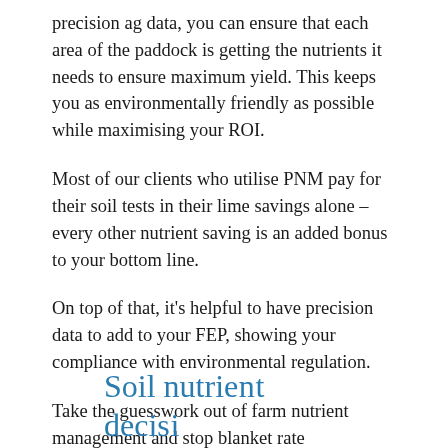precision ag data, you can ensure that each area of the paddock is getting the nutrients it needs to ensure maximum yield. This keeps you as environmentally friendly as possible while maximising your ROI.
Most of our clients who utilise PNM pay for their soil tests in their lime savings alone – every other nutrient saving is an added bonus to your bottom line.
On top of that, it's helpful to have precision data to add to your FEP, showing your compliance with environmental regulation.
Take the guesswork out of farm nutrient management and stop blanket rate application. Talk to the team at Vantage NZ today about Precision Nutrient Management.
Soil nutri...